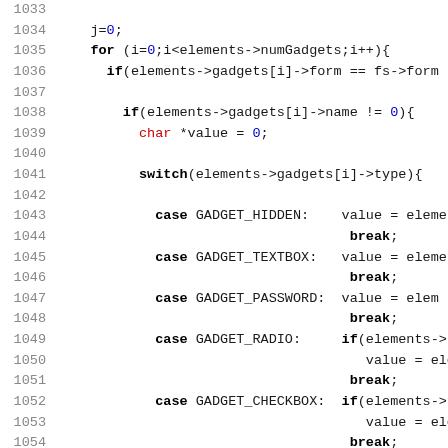[Figure (screenshot): Source code listing in a monospace font with line numbers 1033-1063, showing C code for a switch statement handling gadget types (GADGET_HIDDEN, GADGET_TEXTBOX, GADGET_PASSWORD, GADGET_RADIO, GADGET_CHECKBOX, GADGET_SELECT) with associated value assignments and break statements.]